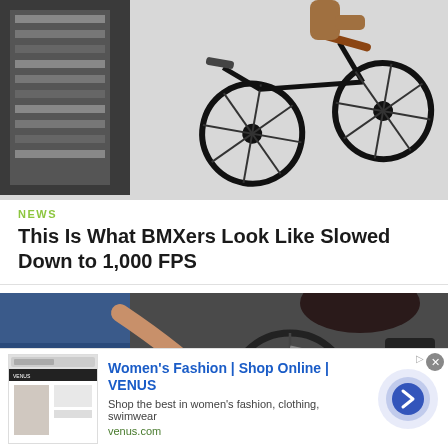[Figure (photo): BMX rider performing a trick in the air, bike visible against a light background with industrial structure on the left]
NEWS
This Is What BMXers Look Like Slowed Down to 1,000 FPS
[Figure (photo): Close-up of a person working on or interacting with a BMX bike, crouching over the wheel area]
[Figure (screenshot): Advertisement for Women's Fashion | Shop Online | VENUS — Shop the best in women's fashion, clothing, swimwear — venus.com]